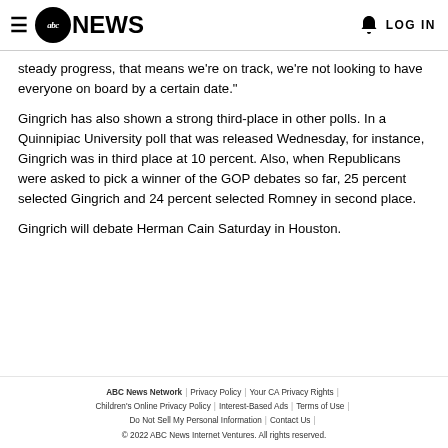abc NEWS | LOG IN
steady progress, that means we're on track, we're not looking to have everyone on board by a certain date."
Gingrich has also shown a strong third-place in other polls. In a Quinnipiac University poll that was released Wednesday, for instance, Gingrich was in third place at 10 percent. Also, when Republicans were asked to pick a winner of the GOP debates so far, 25 percent selected Gingrich and 24 percent selected Romney in second place.
Gingrich will debate Herman Cain Saturday in Houston.
ABC News Network | Privacy Policy | Your CA Privacy Rights | Children's Online Privacy Policy | Interest-Based Ads | Terms of Use | Do Not Sell My Personal Information | Contact Us | © 2022 ABC News Internet Ventures. All rights reserved.